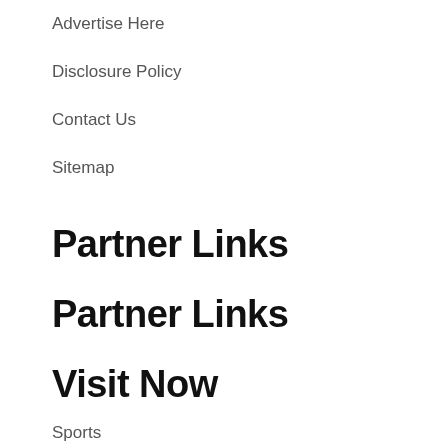Advertise Here
Disclosure Policy
Contact Us
Sitemap
Partner Links
Partner Links
Visit Now
Sports
[Figure (illustration): Broken image placeholder icon with green triangle shape]